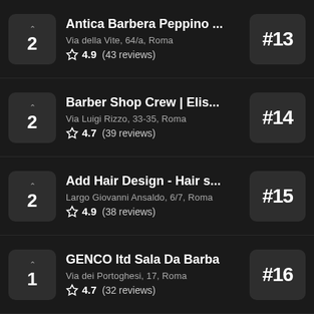Antica Barbera Peppino ... | Via della Vite, 64/a, Roma | 4.9 (43 reviews) | #13 | votes: 2
Barber Shop Crew | Elis... | Via Luigi Rizzo, 33-35, Roma | 4.7 (39 reviews) | #14 | votes: 2
Add Hair Design - Hair s... | Largo Giovanni Ansaldo, 6/7, Roma | 4.9 (38 reviews) | #15 | votes: 2
GENCO ltd Sala Da Barba | Via dei Portoghesi, 17, Roma | 4.7 (32 reviews) | #16 | votes: 1